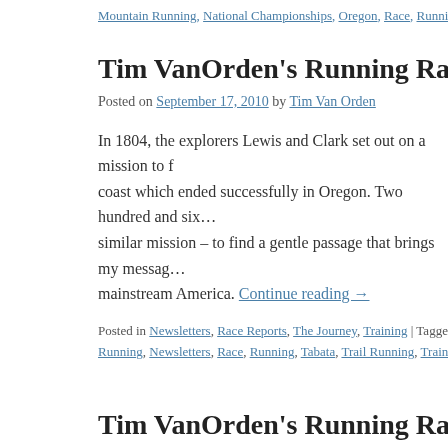Mountain Running, National Championships, Oregon, Race, Running, Trail R…
Tim VanOrden's Running Raw Times – Se…
Posted on September 17, 2010 by Tim Van Orden
In 1804, the explorers Lewis and Clark set out on a mission to f… coast which ended successfully in Oregon. Two hundred and six… similar mission – to find a gentle passage that brings my messag… mainstream America. Continue reading →
Posted in Newsletters, Race Reports, The Journey, Training | Tagged Athlete… Running, Newsletters, Race, Running, Tabata, Trail Running, Training, Trave…
Tim VanOrden's Running Raw Times – Au…
Posted on August 18, 2010 by Tim Van Orden
On The Road Again
The road is a wonderful place to find yourself. At the momen…